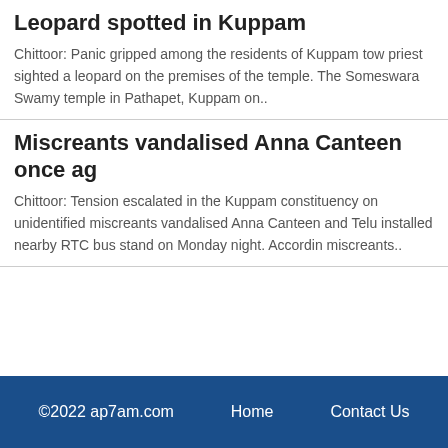Leopard spotted in Kuppam
Chittoor: Panic gripped among the residents of Kuppam tow priest sighted a leopard on the premises of the temple. The Someswara Swamy temple in Pathapet, Kuppam on..
Miscreants vandalised Anna Canteen once ag
Chittoor: Tension escalated in the Kuppam constituency on unidentified miscreants vandalised Anna Canteen and Telu installed nearby RTC bus stand on Monday night. Accordin miscreants..
©2022 ap7am.com   Home   Contact Us